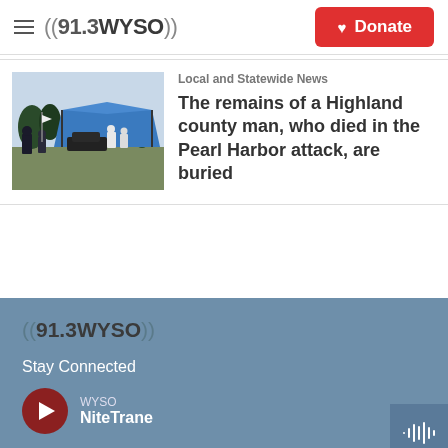((91.3WYSO)) Donate
[Figure (photo): Outdoor funeral or memorial ceremony with people in dark clothing and a blue tent canopy, taken at a cemetery or field.]
Local and Statewide News
The remains of a Highland county man, who died in the Pearl Harbor attack, are buried
Stay Connected
WYSO
NiteTrane